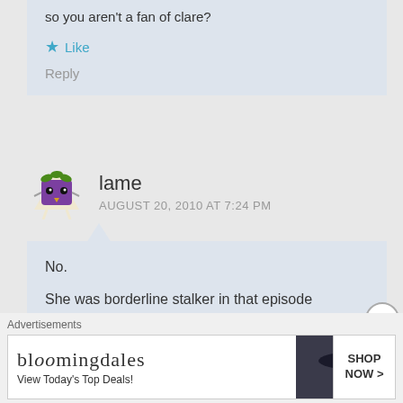so you aren't a fan of clare?
Like
Reply
lame
AUGUST 20, 2010 AT 7:24 PM
No.
She was borderline stalker in that episode
Call it the “Adams Effect”
[Figure (illustration): Cartoon avatar of a purple monster plant character]
Advertisements
[Figure (screenshot): Bloomingdale's advertisement banner: View Today's Top Deals! SHOP NOW >]